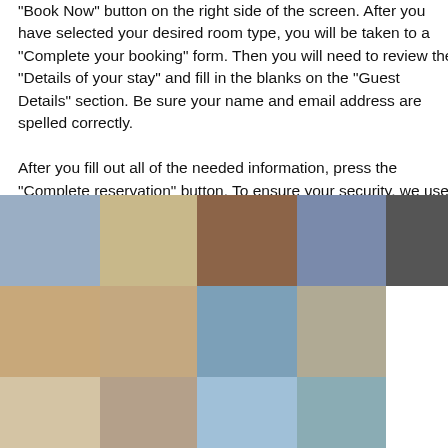"Book Now" button on the right side of the screen. After you have selected your desired room type, you will be taken to a "Complete your booking" form. Then you will need to review the "Details of your stay" and fill in the blanks on the "Guest Details" section. Be sure your name and email address are spelled correctly.
After you fill out all of the needed information, press the "Complete reservation" button. To ensure your security, we use a secure commerce server, which encrypts the credit card number and encodes it into a non-usable form.
[Figure (photo): A collage of hotel photos arranged in a grid: aerial city view, hotel room with beds, dining room, bedroom with blue bedding, dark partial image, hotel lobby/lounge, hotel room with decorative bedspread, hotel room with blue walls, hotel sitting room, hotel room, hotel room, hotel exterior/pool. Three rows of photos partially visible.]